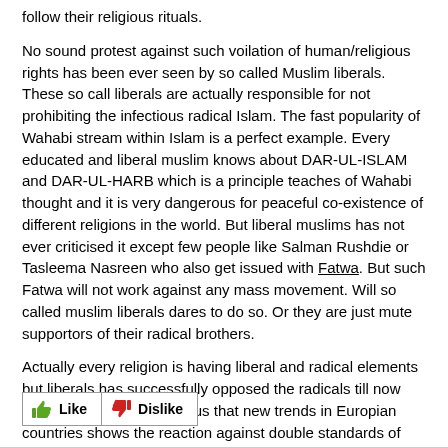follow their religious rituals.
No sound protest against such voilation of human/religious rights has been ever seen by so called Muslim liberals. These so call liberals are actually responsible for not prohibiting the infectious radical Islam. The fast popularity of Wahabi stream within Islam is a perfect example. Every educated and liberal muslim knows about DAR-UL-ISLAM and DAR-UL-HARB which is a principle teaches of Wahabi thought and it is very dangerous for peaceful co-existence of different religions in the world. But liberal muslims has not ever criticised it except few people like Salman Rushdie or Tasleema Nasreen who also get issued with Fatwa. But such Fatwa will not work against any mass movement. Will so called muslim liberals dares to do so. Or they are just mute supportors of their radical brothers.
Actually every religion is having liberal and radical elements but liberals has successfully opposed the radicals till now except in Islam. It is obvious that new trends in Europian countries shows the reaction against double standards of Islamic contries.
[Figure (other): Like and Dislike buttons with thumbs up (green) and thumbs down (red) icons]